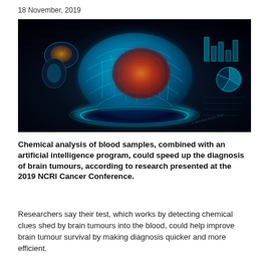18 November, 2019
[Figure (photo): A glowing blue digital brain with red/orange tumor-like center displayed on a dark high-tech background with medical data charts visible in the background.]
Chemical analysis of blood samples, combined with an artificial intelligence program, could speed up the diagnosis of brain tumours, according to research presented at the 2019 NCRI Cancer Conference.
Researchers say their test, which works by detecting chemical clues shed by brain tumours into the blood, could help improve brain tumour survival by making diagnosis quicker and more efficient.